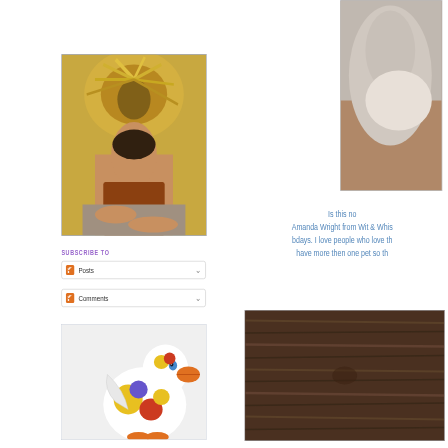[Figure (photo): Woman lying on a couch wearing a large golden flower headdress, brown costume]
SUBSCRIBE TO
[Figure (screenshot): RSS Posts subscription button with dropdown arrow]
[Figure (screenshot): RSS Comments subscription button with dropdown arrow]
[Figure (photo): Colorful rubber duck toy with blue eyes and orange beak]
[Figure (photo): Partial photo of a cat on wooden floor, top right corner]
Is this no Amanda Wright from Wit & Whis bdays. I love people who love th have more then one pet so th
[Figure (photo): Dark wood grain texture, bottom right]